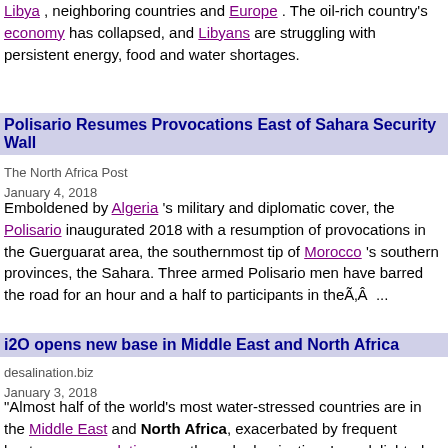Libya, neighboring countries and Europe. The oil-rich country's economy has collapsed, and Libyans are struggling with persistent energy, food and water shortages.
Polisario Resumes Provocations East of Sahara Security Wall
The North Africa Post
January 4, 2018
Emboldened by Algeria 's military and diplomatic cover, the Polisario inaugurated 2018 with a resumption of provocations in the Guerguarat area, the southernmost tip of Morocco 's southern provinces, the Sahara. Three armed Polisario men have barred the road for an hour and a half to participants in theÃÂ ...
i2O opens new base in Middle East and North Africa
desalination.biz
January 3, 2018
"Almost half of the world's most water-stressed countries are in the Middle East and North Africa, exacerbated by frequent heatwaves, population growth, and urbanisation. I am delighted that we now have a permanent presence in the region," said i2O chief executive Joel Hagan. The company's smartÃÂ ...
UNIAN: Poland opposes mandatory quotas for [index] from Middle ...
Kyiv Post